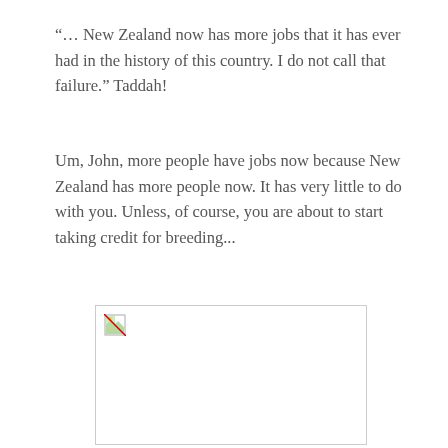“… New Zealand now has more jobs that it has ever had in the history of this country. I do not call that failure.” Taddah!
Um, John, more people have jobs now because New Zealand has more people now. It has very little to do with you. Unless, of course, you are about to start taking credit for breeding...
[Figure (other): Broken/missing image placeholder with a small broken image icon in the top-left corner, bordered by a thin gray rectangle.]